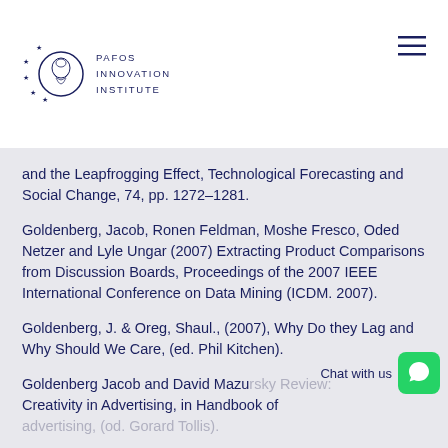PAFOS INNOVATION INSTITUTE
and the Leapfrogging Effect, Technological Forecasting and Social Change, 74, pp. 1272-1281.
Goldenberg, Jacob, Ronen Feldman, Moshe Fresco, Oded Netzer and Lyle Ungar (2007) Extracting Product Comparisons from Discussion Boards, Proceedings of the 2007 IEEE International Conference on Data Mining (ICDM. 2007).
Goldenberg, J. & Oreg, Shaul., (2007), Why Do they Lag and Why Should We Care, (ed. Phil Kitchen).
Goldenberg Jacob and David Mazursky Review: Creativity in Advertising, in Handbook of advertising, (od. Gorard Tollis).